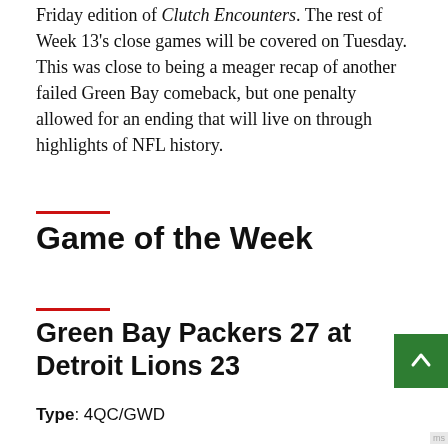Friday edition of Clutch Encounters. The rest of Week 13's close games will be covered on Tuesday. This was close to being a meager recap of another failed Green Bay comeback, but one penalty allowed for an ending that will live on through highlights of NFL history.
Game of the Week
Green Bay Packers 27 at Detroit Lions 23
Type: 4QC/GWD
Largest Fourth-Quarter Deficit: 9 (23-14)
Head Coach: Mike McCarthy (16-41-1 at 4QC and 22-